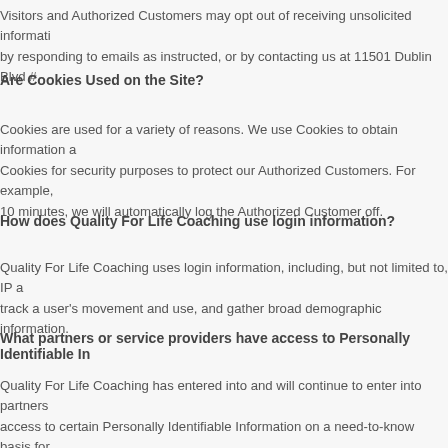Visitors and Authorized Customers may opt out of receiving unsolicited information by responding to emails as instructed, or by contacting us at 11501 Dublin Blvd #
Are Cookies Used on the Site?
Cookies are used for a variety of reasons. We use Cookies to obtain information a Cookies for security purposes to protect our Authorized Customers. For example, 10 minutes, we will automatically log the Authorized Customer off.
How does Quality For Life Coaching use login information?
Quality For Life Coaching uses login information, including, but not limited to, IP a track a user's movement and use, and gather broad demographic information.
What partners or service providers have access to Personally Identifiable In
Quality For Life Coaching has entered into and will continue to enter into partners access to certain Personally Identifiable Information on a need-to-know basis for